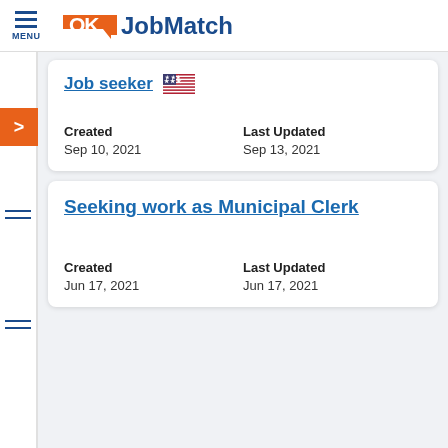[Figure (logo): OK JobMatch logo with Oklahoma state outline shape in orange, 'OK' in white on orange background, 'JobMatch' in dark blue]
Job seeker
Created
Sep 10, 2021
Last Updated
Sep 13, 2021
Seeking work as Municipal Clerk
Created
Jun 17, 2021
Last Updated
Jun 17, 2021